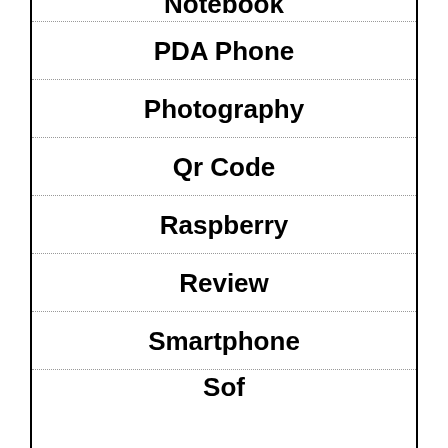Notebook
PDA Phone
Photography
Qr Code
Raspberry
Review
Smartphone
Sof...